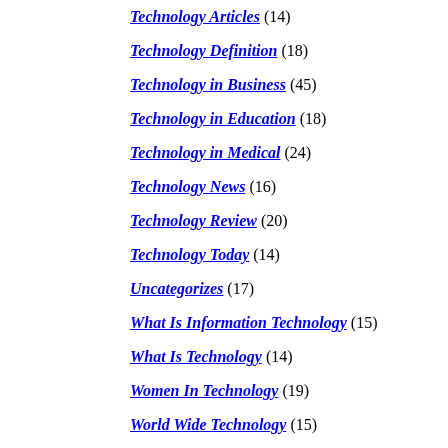Technology Articles (14)
Technology Definition (18)
Technology in Business (45)
Technology in Education (18)
Technology in Medical (24)
Technology News (16)
Technology Review (20)
Technology Today (14)
Uncategorizes (17)
What Is Information Technology (15)
What Is Technology (14)
Women In Technology (19)
World Wide Technology (15)